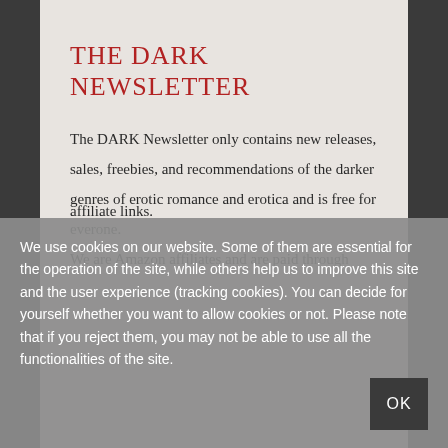THE DARK NEWSLETTER
The DARK Newsletter only contains new releases, sales, freebies, and recommendations of the darker genres of erotic romance and erotica and is free for everone.
We are Amazon affiliates and are paid through affiliate links.
We use cookies on our website. Some of them are essential for the operation of the site, while others help us to improve this site and the user experience (tracking cookies). You can decide for yourself whether you want to allow cookies or not. Please note that if you reject them, you may not be able to use all the functionalities of the site.